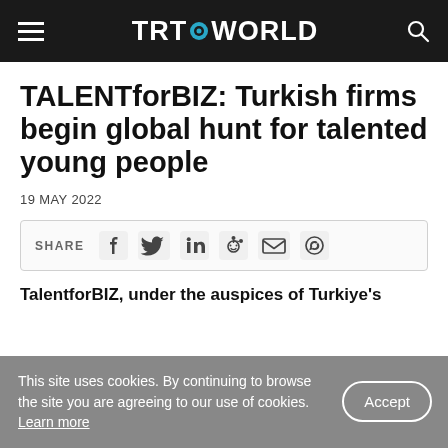TRT WORLD
TALENTforBIZ: Turkish firms begin global hunt for talented young people
19 MAY 2022
[Figure (infographic): Social share bar with icons for Facebook, Twitter, LinkedIn, Reddit, Email, WhatsApp]
TalentforBIZ, under the auspices of Turkiye's
This site uses cookies. By continuing to browse the site you are agreeing to our use of cookies. Learn more